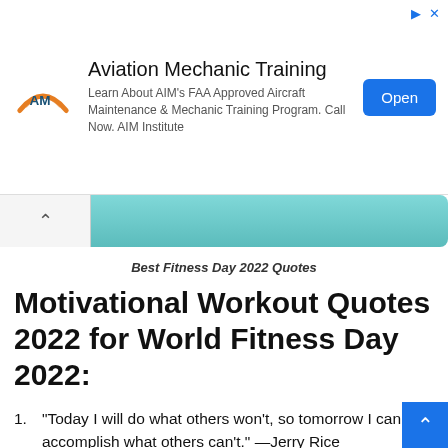[Figure (other): Advertisement banner for AIM Institute Aviation Mechanic Training with logo, description text, and Open button]
[Figure (other): Navigation bar with up-chevron tab on left and teal/cyan gradient fill bar on right]
Best Fitness Day 2022 Quotes
Motivational Workout Quotes 2022 for World Fitness Day 2022:
“Today I will do what others won’t, so tomorrow I can accomplish what others can’t.” —Jerry Rice
“Do something today that your future self will thank you for.” —Unknown
“We are what we repeatedly do. Excellence then is not an act but a habit.” —Aristotle
“No matter how slow you go, you are still lapping